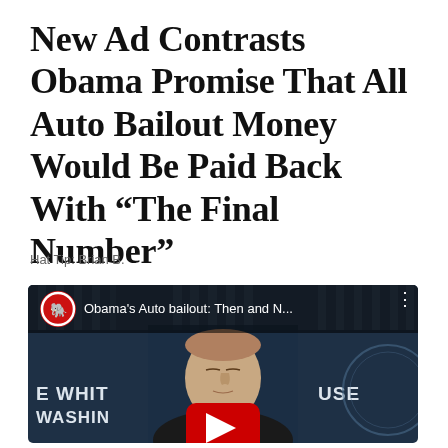New Ad Contrasts Obama Promise That All Auto Bailout Money Would Be Paid Back With “The Final Number”
Hat Tip: Brian B.
[Figure (screenshot): YouTube video thumbnail showing a man at the White House briefing room podium. Video title reads 'Obama's Auto bailout: Then and N...' with a Republican elephant logo icon. White House Washington text partially visible. Large red YouTube play button at bottom center.]